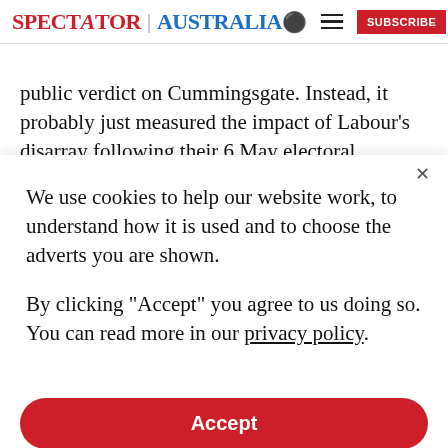SPECTATOR | AUSTRALIA
public verdict on Cummingsgate. Instead, it probably just measured the impact of Labour's disarray following their 6 May electoral setbacks. It would be surprising were the Tory lead not to take a hit given the extent of media coverage of Cummings' eye-catching claims of
We use cookies to help our website work, to understand how it is used and to choose the adverts you are shown.
By clicking "Accept" you agree to us doing so. You can read more in our privacy policy.
Accept